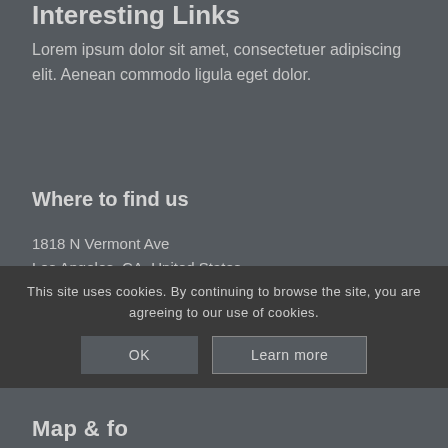Interesting Links
Lorem ipsum dolor sit amet, consectetuer adipiscing elit. Aenean commodo ligula eget dolor.
Where to find us
1818 N Vermont Ave
Los Angeles, CA, United States
(555) 774 433
hello@en2017.com
This site uses cookies. By continuing to browse the site, you are agreeing to our use of cookies.
OK   Learn more